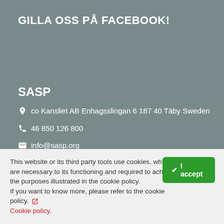GILLA OSS PÅ FACEBOOK!
SASP
co Kansliet AB Enhagsslingan 6 187 40 Täby Sweden
46 850 126 800
info@sasp.org
https://www.sasp.org/
This website or its third party tools use cookies, which are necessary to its functioning and required to achieve the purposes illustrated in the cookie policy.
If you want to know more, please refer to the cookie policy.
Cookie policy.